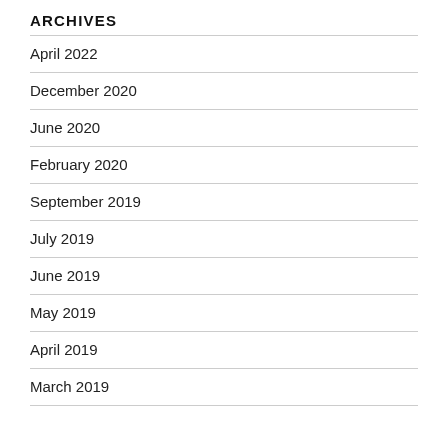ARCHIVES
April 2022
December 2020
June 2020
February 2020
September 2019
July 2019
June 2019
May 2019
April 2019
March 2019